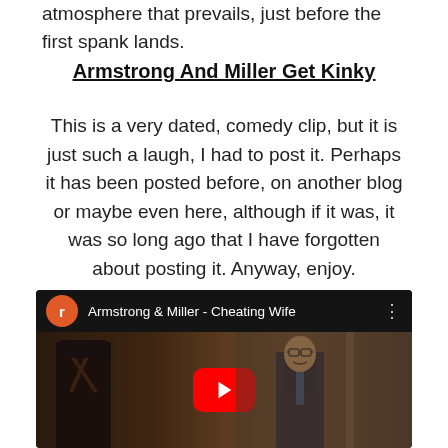atmosphere that prevails, just before the first spank lands.
Armstrong And Miller Get Kinky
This is a very dated, comedy clip, but it is just such a laugh, I had to post it. Perhaps it has been posted before, on another blog or maybe even here, although if it was, it was so long ago that I have forgotten about posting it. Anyway, enjoy.
[Figure (screenshot): YouTube video embed showing Armstrong & Miller - Cheating Wife, with a play button overlay on a dark scene showing two figures.]